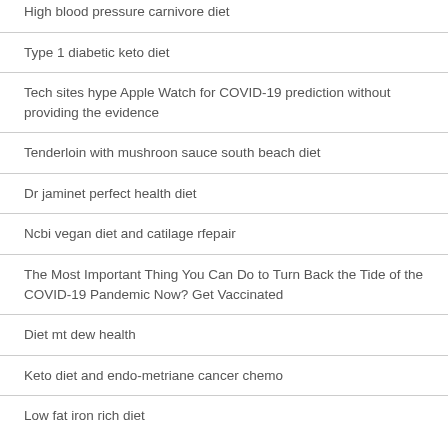High blood pressure carnivore diet
Type 1 diabetic keto diet
Tech sites hype Apple Watch for COVID-19 prediction without providing the evidence
Tenderloin with mushroon sauce south beach diet
Dr jaminet perfect health diet
Ncbi vegan diet and catilage rfepair
The Most Important Thing You Can Do to Turn Back the Tide of the COVID-19 Pandemic Now? Get Vaccinated
Diet mt dew health
Keto diet and endo-metriane cancer chemo
Low fat iron rich diet